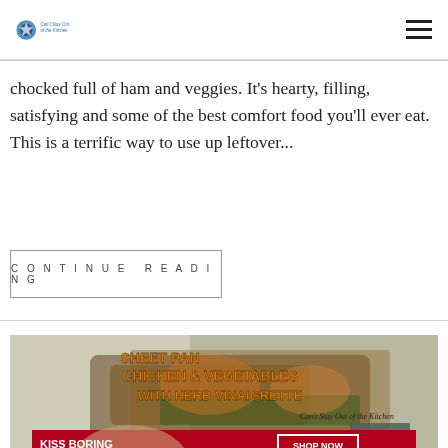Can't Stay Out of the Kitchen [logo + hamburger menu]
chocked full of ham and veggies. It's hearty, filling, satisfying and some of the best comfort food you'll ever eat. This is a terrific way to use up leftover...
CONTINUE READING
[Figure (photo): Sheet Pan Chicken & Vegetables with Herb Vinaigrette food photo with orange text overlay and a Macy's ad banner at bottom]
SHEET PAN CHICKEN & VEGETABLES WITH HERB VINAIGRETTE — Can't Stay Out of the Kitchen